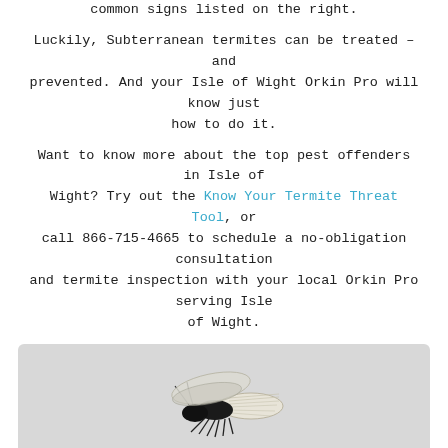common signs listed on the right.
Luckily, Subterranean termites can be treated – and prevented. And your Isle of Wight Orkin Pro will know just how to do it.
Want to know more about the top pest offenders in Isle of Wight? Try out the Know Your Termite Threat Tool, or call 866-715-4665 to schedule a no-obligation consultation and termite inspection with your local Orkin Pro serving Isle of Wight.
[Figure (illustration): Illustration of a subterranean termite (winged swarmer) with black body, white wings, and visible legs, shown against a light gray background.]
Subterranean
Evidence of Infestation
Mud tubes on outside of walls; winged swarmers.
Behaviors and Habit